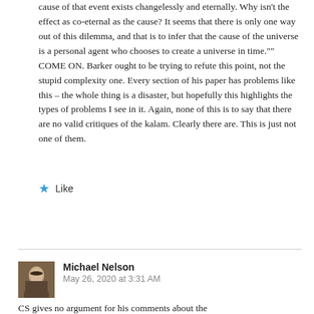cause of that event exists changelessly and eternally. Why isn't the effect as co-eternal as the cause? It seems that there is only one way out of this dilemma, and that is to infer that the cause of the universe is a personal agent who chooses to create a universe in time."" COME ON. Barker ought to be trying to refute this point, not the stupid complexity one. Every section of his paper has problems like this – the whole thing is a disaster, but hopefully this highlights the types of problems I see in it. Again, none of this is to say that there are no valid critiques of the kalam. Clearly there are. This is just not one of them.
Like
REPLY
Michael Nelson
May 26, 2020 at 3:31 AM
CS gives no argument for his comments about the